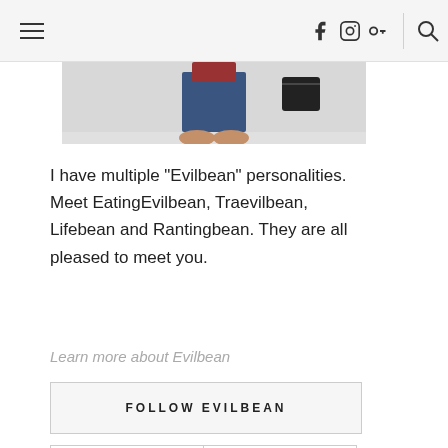Navigation bar with hamburger menu, Facebook, Instagram, Google+, and Search icons
[Figure (photo): Partial photo showing person's lower body in jeans, a red top, a black bag, against a light background]
I have multiple "Evilbean" personalities. Meet EatingEvilbean, Traevilbean, Lifebean and Rantingbean. They are all pleased to meet you.
Learn more about Evilbean
FOLLOW EVILBEAN
[Figure (infographic): Two social media icon boxes: Facebook (f icon) and Instagram (camera icon) with labels FACEBOOK and INSTAGRAM]